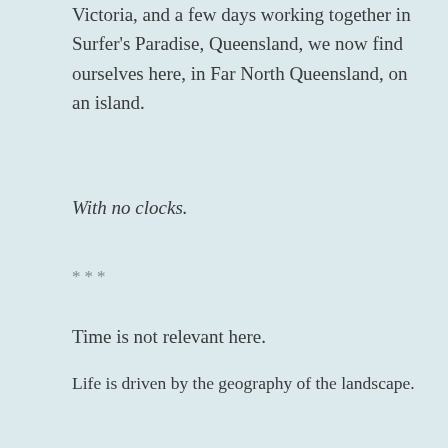Victoria, and a few days working together in Surfer's Paradise, Queensland, we now find ourselves here, in Far North Queensland, on an island.
With no clocks.
***
Time is not relevant here.
Life is driven by the geography of the landscape.
We allow ourselves to be tied only to the biological needs of the body, the movement of the sun, and the path of the moon across these endless skies.
In fact, time has no meaning without these movements in the sky, and without our biological patterns. Without